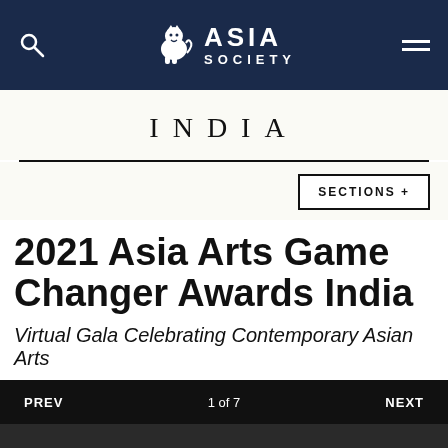Asia Society — INDIA
INDIA
SECTIONS +
2021 Asia Arts Game Changer Awards India
Virtual Gala Celebrating Contemporary Asian Arts
PREV   1 of 7   NEXT